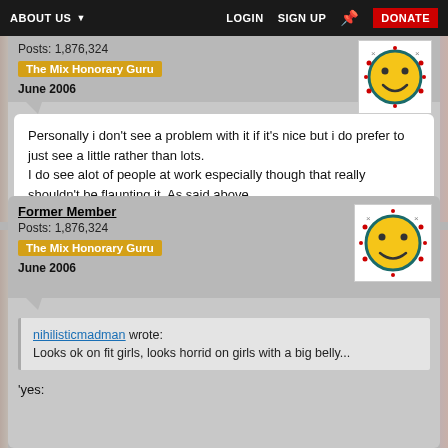ABOUT US  LOGIN  SIGN UP  DONATE
Posts: 1,876,324
The Mix Honorary Guru
June 2006
Personally i don't see a problem with it if it's nice but i do prefer to just see a little rather than lots.
I do see alot of people at work especially though that really shouldn't be flaunting it. As said above.
Former Member
Posts: 1,876,324
The Mix Honorary Guru
June 2006
nihilisticmadman wrote:
Looks ok on fit girls, looks horrid on girls with a big belly...
'yes: